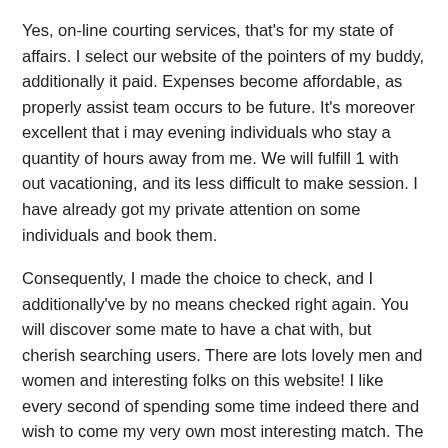Yes, on-line courting services, that's for my state of affairs. I select our website of the pointers of my buddy, additionally it paid. Expenses become affordable, as properly assist team occurs to be future. It's moreover excellent that i may evening individuals who stay a quantity of hours away from me. We will fulfill 1 with out vacationing, and its less difficult to make session. I have already got my private attention on some individuals and book them.
Consequently, I made the choice to check, and I additionally've by no means checked right again. You will discover some mate to have a chat with, but cherish searching users. There are lots lovely men and women and interesting folks on this website! I like every second of spending some time indeed there and wish to come my very own most interesting match. The model enables me to obtain any choice in an extra benefit from connections without shifting through confusing links and control keys. Quite merely, this courting website assists you to focus on everybody rather than the location alone. We curently have an excellent number of buddies respect every moment of my personal go online.